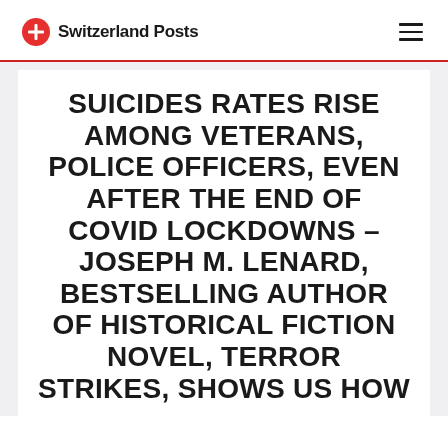Switzerland Posts
SUICIDES RATES RISE AMONG VETERANS, POLICE OFFICERS, EVEN AFTER THE END OF COVID LOCKDOWNS – JOSEPH M. LENARD, BESTSELLING AUTHOR OF HISTORICAL FICTION NOVEL, TERROR STRIKES, SHOWS US HOW